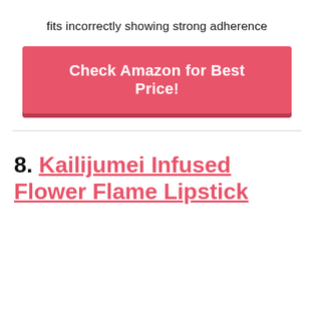fits incorrectly showing strong adherence
[Figure (other): Red/pink button with white bold text: Check Amazon for Best Price!]
8. Kailijumei Infused Flower Flame Lipstick